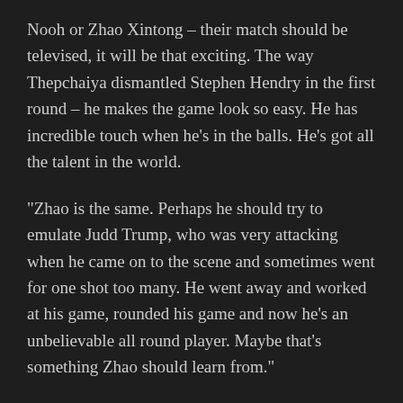Nooh or Zhao Xintong – their match should be televised, it will be that exciting. The way Thepchaiya dismantled Stephen Hendry in the first round – he makes the game look so easy. He has incredible touch when he's in the balls. He's got all the talent in the world.
“Zhao is the same. Perhaps he should try to emulate Judd Trump, who was very attacking when he came on to the scene and sometimes went for one shot too many. He went away and worked at his game, rounded his game and now he’s an unbelievable all round player. Maybe that’s something Zhao should learn from.”
Mark King, a semi-finalist at the recent BetVictor English Open, scored a 6-2 victory over Gerard Greene to set up a third round clash with Ronnie O’Sullivan. Gary Wilson made a 147 in round one but his run is over as he lost 6-4